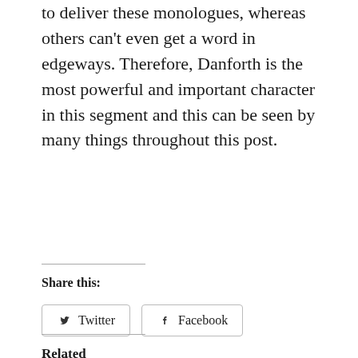to deliver these monologues, whereas others can't even get a word in edgeways. Therefore, Danforth is the most powerful and important character in this segment and this can be seen by many things throughout this post.
Share this:
[Figure (screenshot): Twitter and Facebook share buttons]
Loading...
Related
The Crucible: Quotations
Act 3: segment 2– 'When the